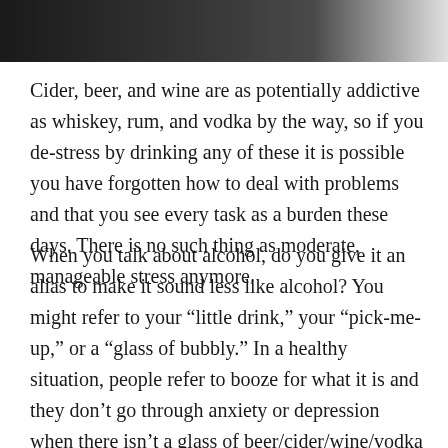[Figure (photo): Dark photograph at the top of the page, appears to show bottles or glassware in a dimly lit setting]
Cider, beer, and wine are as potentially addictive as whiskey, rum, and vodka by the way, so if you de-stress by drinking any of these it is possible you have forgotten how to deal with problems and that you see every task as a burden these days. There is no such thing as moderate, manageable stress anymore.
When you talk about alcohol, do you give it an alias to make it sound less like alcohol? You might refer to your “little drink,” your “pick-me-up,” or a “glass of bubbly.” In a healthy situation, people refer to booze for what it is and they don’t go through anxiety or depression when there isn’t a glass of beer/cider/wine/vodka at the end of every day, preferably three or four glasses. How much you polish off is not as important as your relationship with the alcohol.